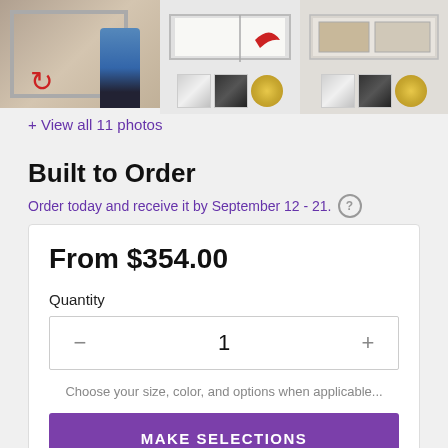[Figure (photo): Product images of bulletin board with frame color thumbnails (silver, black, gold) shown in two image panels]
+ View all 11 photos
Built to Order
Order today and receive it by September 12 - 21.
From $354.00
Quantity
1
Choose your size, color, and options when applicable...
MAKE SELECTIONS
ADD TO CART
(MAKE SELECTIONS FIRST)